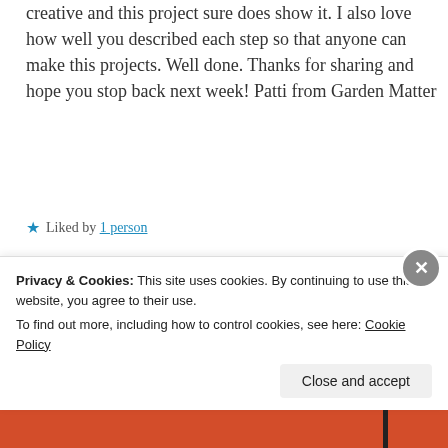creative and this project sure does show it. I also love how well you described each step so that anyone can make this projects. Well done. Thanks for sharing and hope you stop back next week! Patti from Garden Matter
★ Liked by 1 person
Reply
spcountrygal
November 5, 2015 at 3:44 pm
Privacy & Cookies: This site uses cookies. By continuing to use this website, you agree to their use.
To find out more, including how to control cookies, see here: Cookie Policy
Close and accept